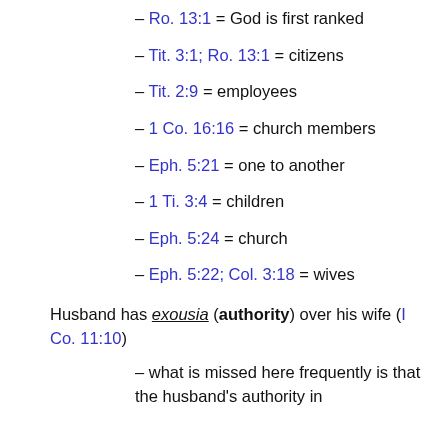– Ro. 13:1 = God is first ranked
– Tit. 3:1; Ro. 13:1 = citizens
– Tit. 2:9 = employees
– 1 Co. 16:16 = church members
– Eph. 5:21 = one to another
– 1 Ti. 3:4 = children
– Eph. 5:24 = church
– Eph. 5:22; Col. 3:18 = wives
Husband has exousia (authority) over his wife (I Co. 11:10)
– what is missed here frequently is that the husband's authority in